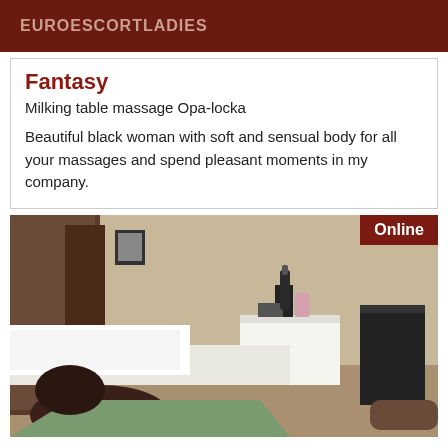EUROESCORTLADIES
Fantasy
Milking table massage Opa-locka
Beautiful black woman with soft and sensual body for all your massages and spend pleasant moments in my company.
[Figure (photo): Photo of a massage room with a massage table covered in white towels, a nightstand with items on it, and a black bag or device visible. An 'Online' badge is in the top-right corner.]